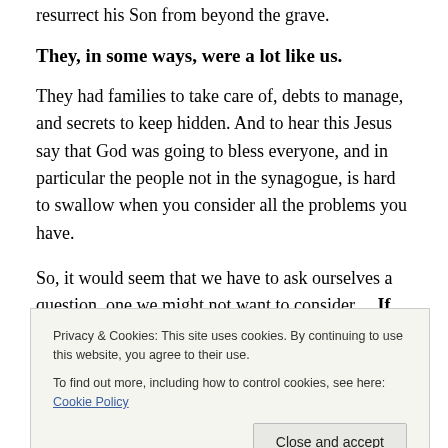resurrect his Son from beyond the grave.
They, in some ways, were a lot like us.
They had families to take care of, debts to manage, and secrets to keep hidden. And to hear this Jesus say that God was going to bless everyone, and in particular the people not in the synagogue, is hard to swallow when you consider all the problems you have.
So, it would seem that we have to ask ourselves a question, one we might not want to consider… If this
Privacy & Cookies: This site uses cookies. By continuing to use this website, you agree to their use.
To find out more, including how to control cookies, see here: Cookie Policy
turn the world upside down?